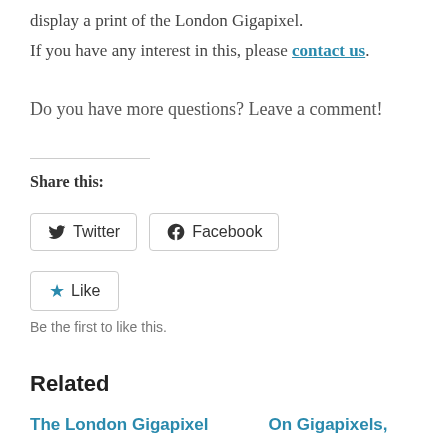display a print of the London Gigapixel.
If you have any interest in this, please contact us.
Do you have more questions? Leave a comment!
Share this:
Twitter  Facebook
Like  Be the first to like this.
Related
The London Gigapixel   On Gigapixels,